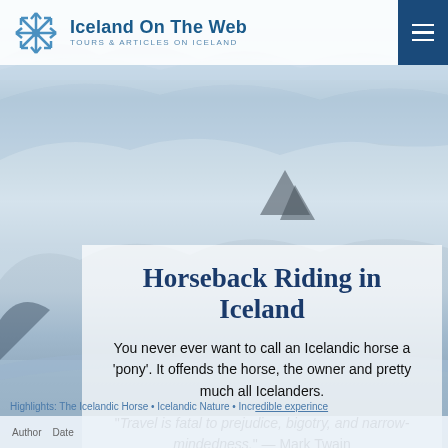[Figure (photo): Aerial view of Icelandic glacier landscape with snow and ice formations, blue-grey tones]
Iceland On The Web — TOURS & ARTICLES ON ICELAND
Horseback Riding in Iceland
You never ever want to call an Icelandic horse a 'pony'. It offends the horse, the owner and pretty much all Icelanders.
"Travel is fatal to prejudice, bigotry, and narrow-mindedness." — Mark Twain
Highlights: The Icelandic Horse • Icelandic Nature • Incredible experience